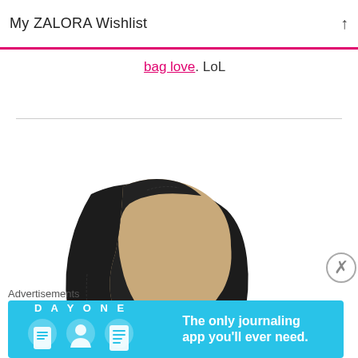My ZALORA Wishlist
bag love. LoL
[Figure (photo): A black suede wedge shoe / heel with open toe, shown on white background. Brand tag visible on side.]
Advertisements
[Figure (screenshot): DAY ONE app advertisement banner in blue. Shows 'DAY ONE' text, three app icons (notebook, person, document), and text: 'The only journaling app you'll ever need.']